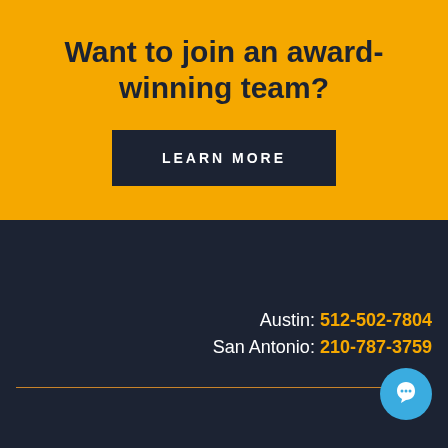Want to join an award-winning team?
LEARN MORE
Austin: 512-502-7804
San Antonio: 210-787-3759